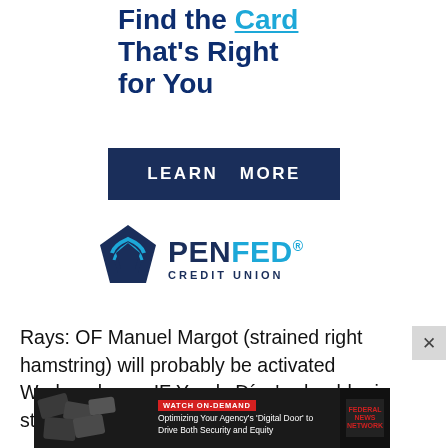Find the Card That's Right for You
[Figure (other): LEARN MORE button — dark navy rectangle with white uppercase text]
[Figure (logo): PenFed Credit Union logo with pentagon shield icon]
Rays: OF Manuel Margot (strained right hamstring) will probably be activated Wednesday. ... IF Yandy Díaz's shoulder is still sore, ... proba... ...ay.
[Figure (screenshot): Overlay advertisement: Federal News Network 'Watch On-Demand' ad — Optimizing Your Agency's Digital Door to Drive Both Security and Equity]